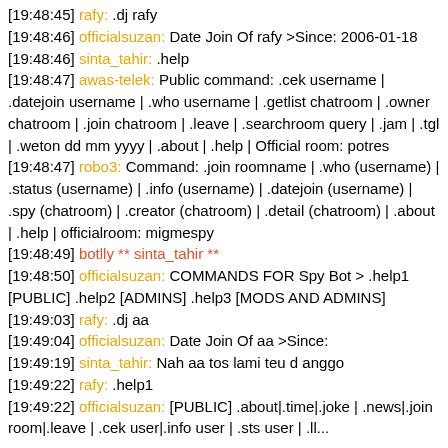[19:48:45] rafy: .dj rafy
[19:48:46] officialsuzan: Date Join Of rafy >Since: 2006-01-18
[19:48:46] sinta_tahir: .help
[19:48:47] awas-telek: Public command: .cek username | .datejoin username | .who username | .getlist chatroom | .owner chatroom | .join chatroom | .leave | .searchroom query | .jam | .tgl | .weton dd mm yyyy | .about | .help | Official room: potres
[19:48:47] robo3: Command: .join roomname | .who (username) | .status (username) | .info (username) | .datejoin (username) | .spy (chatroom) | .creator (chatroom) | .detail (chatroom) | .about | .help | officialroom: migmespy
[19:48:49] botlly ** sinta_tahir **
[19:48:50] officialsuzan: COMMANDS FOR Spy Bot > .help1 [PUBLIC] .help2 [ADMINS] .help3 [MODS AND ADMINS]
[19:49:03] rafy: .dj aa
[19:49:04] officialsuzan: Date Join Of aa >Since:
[19:49:19] sinta_tahir: Nah aa tos lami teu d anggo
[19:49:22] rafy: .help1
[19:49:22] officialsuzan: [PUBLIC] .about|.time|.joke | .news|.join room|.leave | .cek user|.info user | .sts user | .ll...